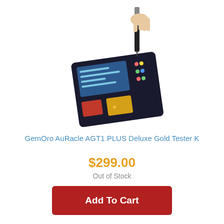[Figure (photo): A hand holding a pen/stylus testing a gold tester device - GemOro AuRacle AGT1 PLUS Deluxe Gold Tester, black electronic device with display]
GemOro AuRacle AGT1 PLUS Deluxe Gold Tester K
$299.00
Out of Stock
Add To Cart
[Figure (photo): Bottom portion of second product - Antwerp Style One box, white and blue packaging, partially visible]